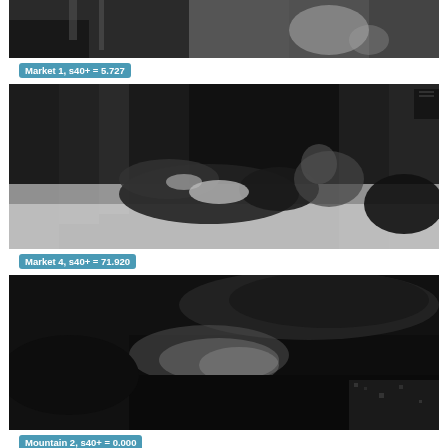[Figure (photo): Grayscale/dark image at top showing figures, partially cropped at top]
Market 1, s40+ = 5.727
[Figure (photo): Grayscale image showing animals (cats/dogs) in snow with dark background]
Market 4, s40+ = 71.920
[Figure (photo): Dark grayscale image showing a landscape or vehicle with dark tones]
Mountain 2, s40+ = 0.000